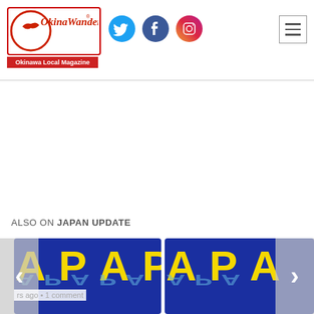[Figure (logo): OkinaWanderer logo with cursive red text and 'Okinawa Local Magazine' subtitle on red background]
[Figure (logo): Twitter bird icon (blue circle)]
[Figure (logo): Facebook icon (dark blue circle)]
[Figure (logo): Instagram icon (gradient circle)]
[Figure (illustration): Hamburger menu icon (three horizontal lines in a square border)]
ALSO ON JAPAN UPDATE
[Figure (screenshot): Left thumbnail card showing yellow letters 'A P A P A' on dark blue background with reflection, article card]
rs ago • 1 comment
[Figure (screenshot): Right thumbnail card showing yellow letters 'A P A' on dark blue background with reflection, article card]